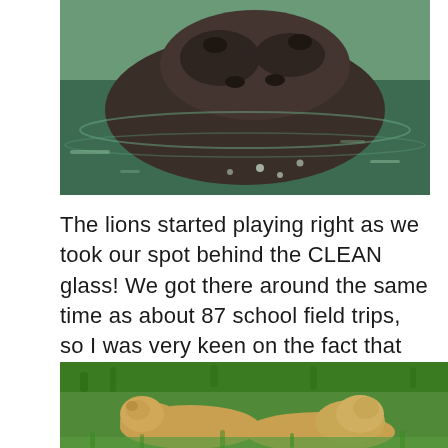[Figure (photo): A hippopotamus partially submerged in greenish water, with its head visible above the surface.]
The lions started playing right as we took our spot behind the CLEAN glass! We got there around the same time as about 87 school field trips, so I was very keen on the fact that glass would soon be smeared with slime and boogers.
[Figure (photo): Two lions resting or playing on green grass, viewed from above.]